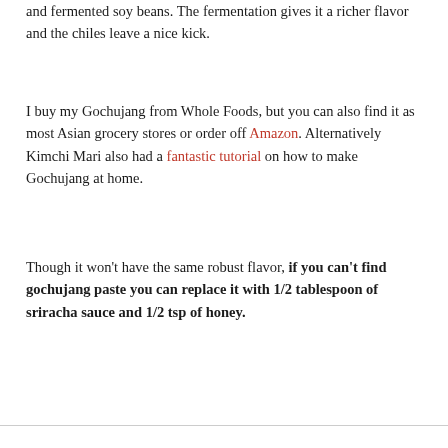and fermented soy beans. The fermentation gives it a richer flavor and the chiles leave a nice kick.
I buy my Gochujang from Whole Foods, but you can also find it as most Asian grocery stores or order off Amazon. Alternatively Kimchi Mari also had a fantastic tutorial on how to make Gochujang at home.
Though it won't have the same robust flavor, if you can't find gochujang paste you can replace it with 1/2 tablespoon of sriracha sauce and 1/2 tsp of honey.